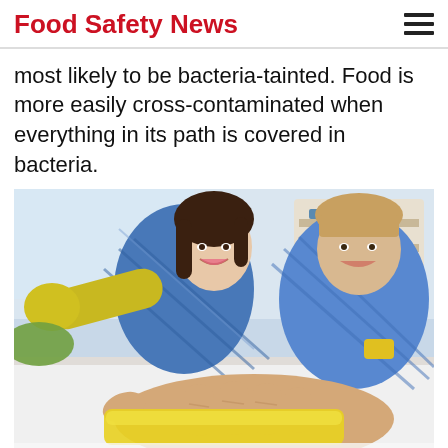Food Safety News
most likely to be bacteria-tainted. Food is more easily cross-contaminated when everything in its path is covered in bacteria.
[Figure (photo): Two smiling young adults (a woman wearing yellow rubber gloves and a blue plaid shirt, and a man in a blue plaid shirt) cleaning a white surface with yellow sponges/cloths. The foreground shows a hand wiping the surface with a yellow cloth. A bright interior room with shelves is visible in the background.]